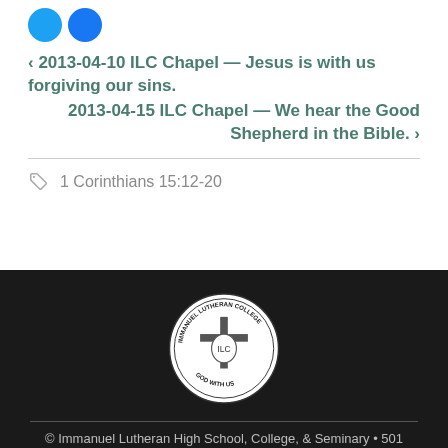[Figure (other): Two circular social media sharing buttons (Twitter blue and Facebook blue)]
‹ 2013-04-10 ILC Chapel — Jesus is with us forgiving our sins.
2013-04-15 ILC Chapel — We hear the Good Shepherd in the Bible. ›
1 Corinthians 15:12-20
[Figure (logo): Immanuel Lutheran College circular seal/logo with cross and shield, text reading IMMANUEL LUTHERAN COLLEGE and GOD WITH US]
© Immanuel Lutheran High School, College, & Seminary • 501